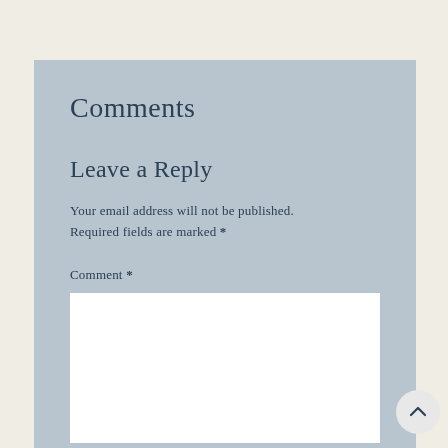Comments
Leave a Reply
Your email address will not be published. Required fields are marked *
Comment *